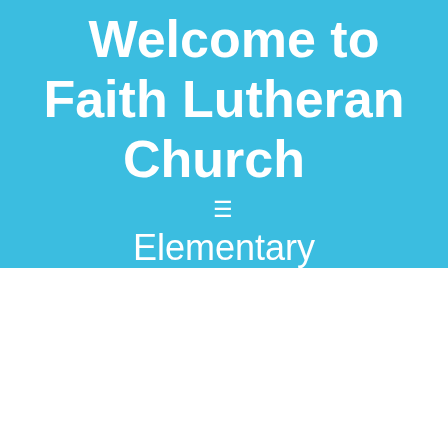Welcome to Faith Lutheran Church
[Figure (other): Hamburger menu icon (three horizontal lines)]
Elementary